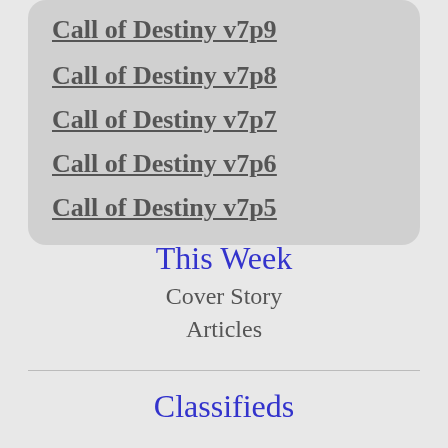Call of Destiny v7p9
Call of Destiny v7p8
Call of Destiny v7p7
Call of Destiny v7p6
Call of Destiny v7p5
This Week
Cover Story
Articles
Classifieds